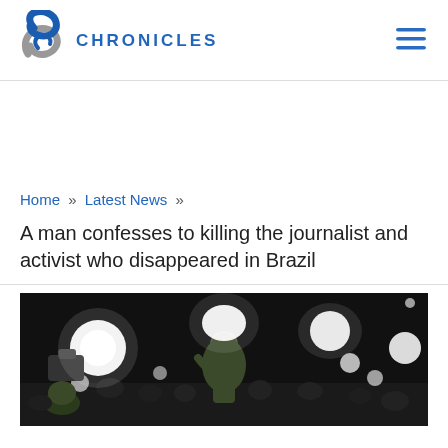S Chronicles
Home » Latest News »
A man confesses to killing the journalist and activist who disappeared in Brazil
[Figure (photo): Night scene showing a person in military/camouflage gear surrounded by press photographers with bright camera flashes and phone lights illuminating the dark scene]